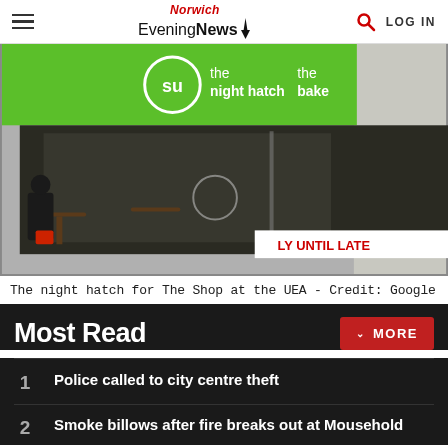Norwich Evening News — LOG IN
[Figure (photo): Photo of the night hatch area of The Shop at the UEA, showing a green signage with 'SU the night hatch' and 'the bakery', interior seating visible through glass windows, a person seated at a table.]
The night hatch for The Shop at the UEA - Credit: Google
Most Read
Police called to city centre theft
Smoke billows after fire breaks out at Mousehold